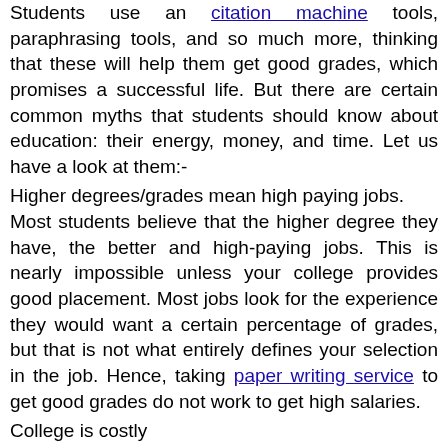Students use an citation machine tools, paraphrasing tools, and so much more, thinking that these will help them get good grades, which promises a successful life. But there are certain common myths that students should know about education: their energy, money, and time. Let us have a look at them:-
Higher degrees/grades mean high paying jobs.
Most students believe that the higher degree they have, the better and high-paying jobs. This is nearly impossible unless your college provides good placement. Most jobs look for the experience they would want a certain percentage of grades, but that is not what entirely defines your selection in the job. Hence, taking paper writing service to get good grades do not work to get high salaries.
College is costly
People have prevalent thinking that colleges are costly, well most of them are, but they also provide good facilities. However, it does not mean that you cannot attend college. There are scholarships and colleges which are that expensive. And that does not mean that students who study from average colleges are not getting jobs. Hence, based on your financial budget, go to a college which does not lead you to debts and gain experience and skills to be